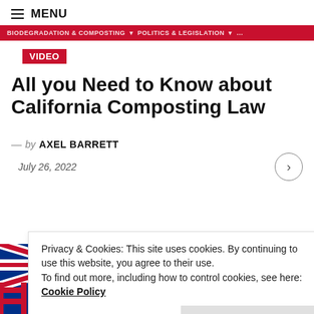≡ MENU
BIODEGRADATION & COMPOSTING  |  POLITICS & LEGISLATION  |  ...
VIDEO
All you Need to Know about California Composting Law
— by AXEL BARRETT
July 26, 2022
Privacy & Cookies: This site uses cookies. By continuing to use this website, you agree to their use.
To find out more, including how to control cookies, see here: Cookie Policy
Close and accept
[Figure (photo): Australian flag with blue background, Union Jack, and Southern Cross stars visible at the bottom of the page]